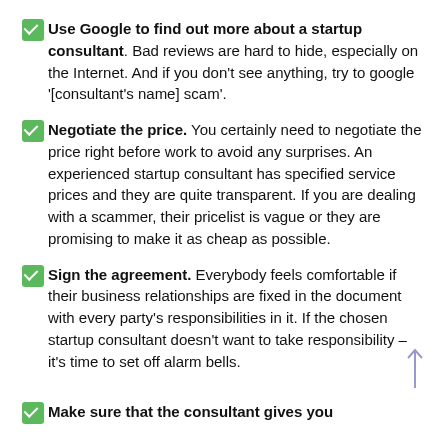Use Google to find out more about a startup consultant. Bad reviews are hard to hide, especially on the Internet. And if you don't see anything, try to google '[consultant's name] scam'.
Negotiate the price. You certainly need to negotiate the price right before work to avoid any surprises. An experienced startup consultant has specified service prices and they are quite transparent. If you are dealing with a scammer, their pricelist is vague or they are promising to make it as cheap as possible.
Sign the agreement. Everybody feels comfortable if their business relationships are fixed in the document with every party's responsibilities in it. If the chosen startup consultant doesn't want to take responsibility – it's time to set off alarm bells.
Make sure that the consultant gives you